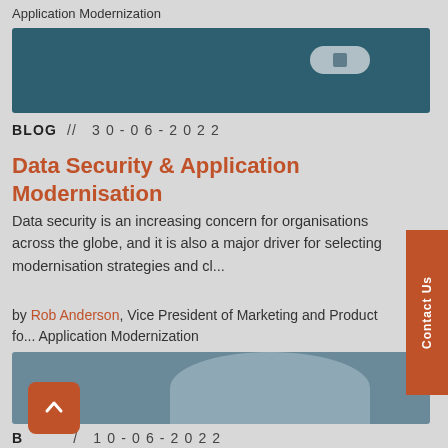Application Modernization
[Figure (photo): Dark teal hero banner with a pill-shaped button element]
BLOG // 30-06-2022
Data Security & Application Modernisation
Data security is an increasing concern for organisations across the globe, and it is also a major driver for selecting modernisation strategies and cl...
by Rob Anderson, Vice President of Marketing and Product fo... Application Modernization
[Figure (photo): Photo of a person viewed from behind in a data center environment]
BLOG // 10-06-2022
The state of legacy IT skills shortages